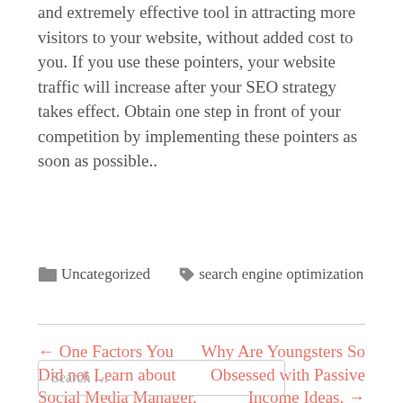and extremely effective tool in attracting more visitors to your website, without added cost to you. If you use these pointers, your website traffic will increase after your SEO strategy takes effect. Obtain one step in front of your competition by implementing these pointers as soon as possible..
🗂 Uncategorized  🏷 search engine optimization
← One Factors You Did not Learn about Social Media Manager.
Why Are Youngsters So Obsessed with Passive Income Ideas. →
Search …